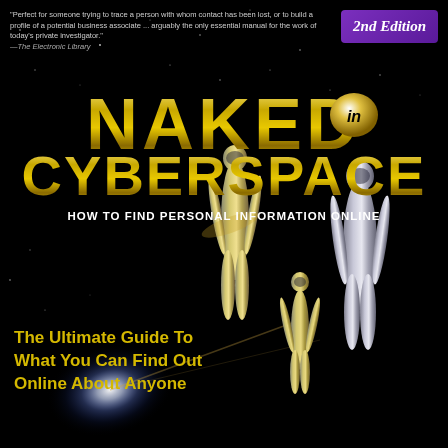[Figure (illustration): Book cover for 'Naked in Cyberspace, 2nd Edition' featuring gold metallic 3D humanoid figures (adult male, adult female, and child) standing on a dark space background with a galaxy spiral glow on the left side. A purple badge in the top-right corner reads '2nd Edition'. Gold large-font title text 'NAKED IN CYBERSPACE' at top, subtitle 'HOW TO FIND PERSONAL INFORMATION ONLINE', and yellow tagline at bottom-left 'The Ultimate Guide To What You Can Find Out Online About Anyone'.]
"Perfect for someone trying to trace a person with whom contact has been lost, or to build a profile of a potential business associate ... arguably the only essential manual for the work of today's private investigator." —The Electronic Library
NAKED IN CYBERSPACE
HOW TO FIND PERSONAL INFORMATION ONLINE
The Ultimate Guide To What You Can Find Out Online About Anyone